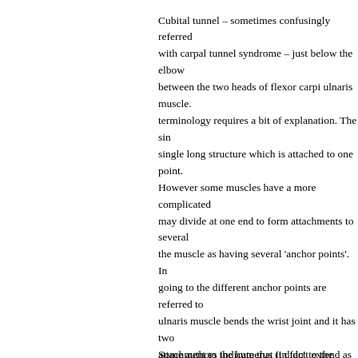Cubital tunnel – sometimes confusingly referred with carpal tunnel syndrome – just below the elbow between the two heads of flexor carpi ulnaris muscle. terminology requires a bit of explanation. The single long structure which is attached to one point. However some muscles have a more complicated may divide at one end to form attachments to several the muscle as having several 'anchor points'. In going to the different anchor points are referred to ulnaris muscle bends the wrist joint and it has two attachment to the humerus (in fact to the medial ulna – one of the bones of the forearm – at the heads of the muscle are normally connected by a under which lies the ulnar nerve. Close to the attachment epicondyle and olecranon this fibrous layer sometimes be thickened, known as Osborne's ligament, which of as a band connecting the medial epicondyle to patients there is an additional muscle at this site epitrochlearis which can be seen on ultrasound implicated in compression of the ulnar nerve. The cubital tunnel are slightly open to debate but most tunnel starts at the level of the medial epicondyle more or less to the point at which the two heads muscle join.
Some authors indicate that it doesn't extend as